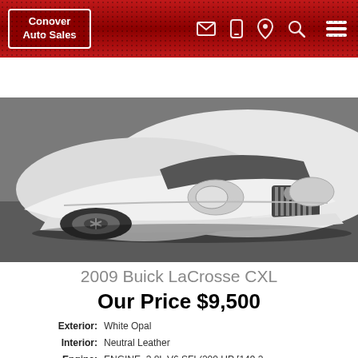Conover Auto Sales
SEARCH FILTERS
[Figure (photo): Front view of a white 2009 Buick LaCrosse CXL sedan parked on pavement]
2009 Buick LaCrosse CXL
Our Price $9,500
Exterior: White Opal
Interior: Neutral Leather
Engine: ENGINE, 3.8L V6 SFI (200 HP [149.2